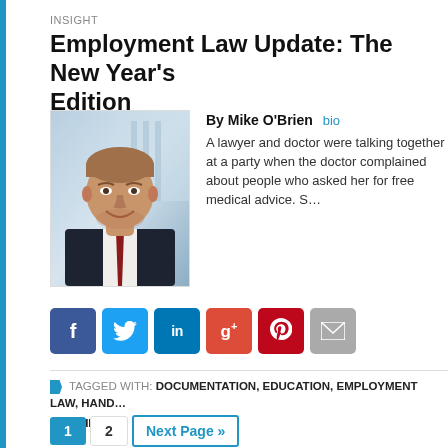INSIGHT
Employment Law Update: The New Year's Edition
[Figure (photo): Professional headshot of Mike O'Brien, a man in a dark suit with a red tie, smiling, photographed in front of a blurred office/window background]
By Mike O'Brien bio
A lawyer and doctor were talking together at a party when the doctor complained about people who asked her for free medical advice. S...
TAGGED WITH: DOCUMENTATION, EDUCATION, EMPLOYMENT LAW, HAND... TRAINING